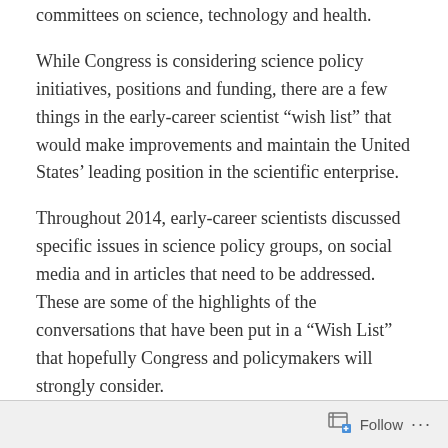committees on science, technology and health.
While Congress is considering science policy initiatives, positions and funding, there are a few things in the early-career scientist “wish list” that would make improvements and maintain the United States’ leading position in the scientific enterprise.
Throughout 2014, early-career scientists discussed specific issues in science policy groups, on social media and in articles that need to be addressed. These are some of the highlights of the conversations that have been put in a “Wish List” that hopefully Congress and policymakers will strongly consider.
Read entire post at ResearchAmerica! click here
Follow ...